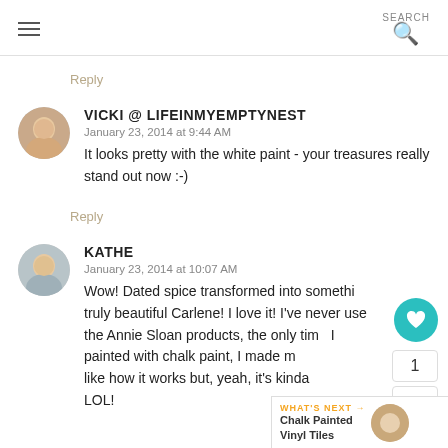SEARCH
Reply
VICKI @ LIFEINMYEMPTYNEST
January 23, 2014 at 9:44 AM
It looks pretty with the white paint - your treasures really stand out now :-)
Reply
KATHE
January 23, 2014 at 10:07 AM
Wow! Dated spice transformed into somethi truly beautiful Carlene! I love it! I've never use the Annie Sloan products, the only time I painted with chalk paint, I made my like how it works but, yeah, it's kinda messy, LOL!